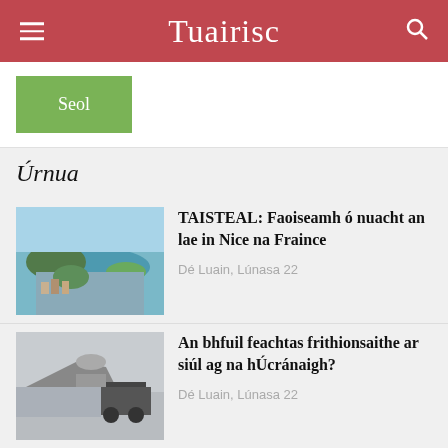Tuairisc
Seol
Úrnua
[Figure (photo): Aerial view of coastal town, water and islands, Nice, France]
TAISTEAL: Faoiseamh ó nuacht an lae in Nice na Fraince
Dé Luain, Lúnasa 22
[Figure (photo): Military aircraft and vehicle on tarmac]
An bhfuil feachtas frithionsaithe ar siúl ag na hÚcránaigh?
Dé Luain, Lúnasa 22
[Figure (photo): Three men in suits, partially visible, raising hands]
Ná bac dul chun cinn, ní féidir linn fiú fanacht mar atá?